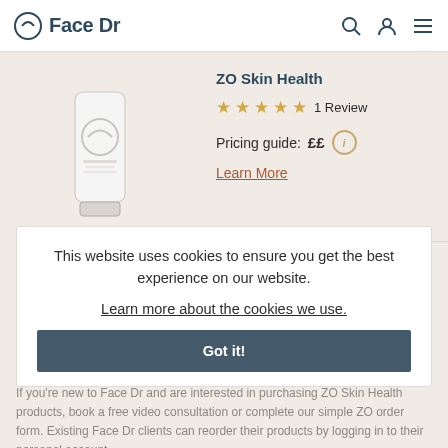Face Dr
[Figure (photo): White cosmetic tube product (ZO Skin Health) on beige background]
ZO Skin Health
★★★★★ 1 Review
Pricing guide: ££ ⓘ
Learn More
LOGIN AND ORDER
BOOK A VIDEO CONSULTATION | REORDER FORM
This website uses cookies to ensure you get the best experience on our website.
Learn more about the cookies we use.
Got it!
If you're new to Face Dr and are interested in purchasing ZO Skin Health products, book a free video consultation or complete our simple ZO order form. Existing Face Dr clients can reorder their products by logging in to their personal account.